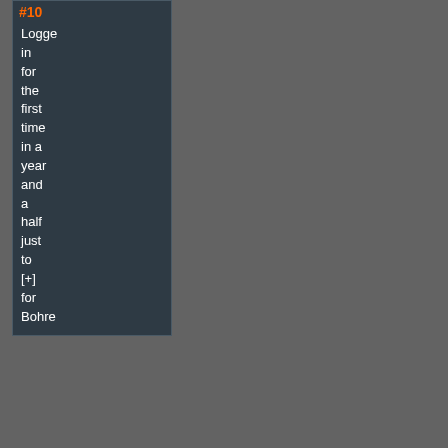#10
Logged in for the first time in a year and a half just to [+] for Bohre
<<
Comment #17 @ 05:49 CST, 17 January 2015 >>
(Link, Reply)
By Pill_ ++
You hav